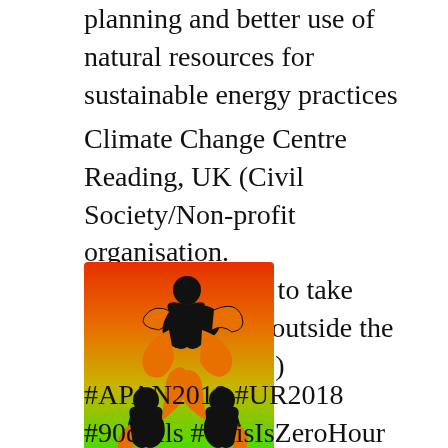planning and better use of natural resources for sustainable energy practices
Climate Change Centre Reading, UK (Civil Society/Non-profit organisation. Project/initiative to take place inside and outside the European Union.)
[Figure (logo): Logo showing three stylized human figures arranged in a circular/triangular pattern on a gradient background transitioning from red/orange at the top to green at the bottom. Figures are black with orange outlines.]
#APAN2018 #UR2018 #90drills #ThisIsZeroHour #UCEEP #iddr2018